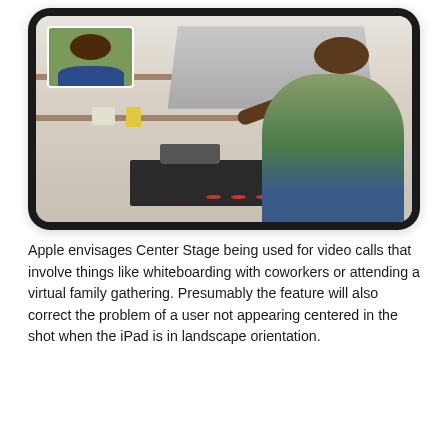[Figure (photo): An iPad with rounded corners displaying a video call scene: a man in a green shirt standing in a kitchen pointing to his right, with a woman appearing in a small video inset in the top-left corner of the screen. The kitchen has shelves with items, a range hood, and a stovetop with red knobs.]
Apple envisages Center Stage being used for video calls that involve things like whiteboarding with coworkers or attending a virtual family gathering. Presumably the feature will also correct the problem of a user not appearing centered in the shot when the iPad is in landscape orientation.